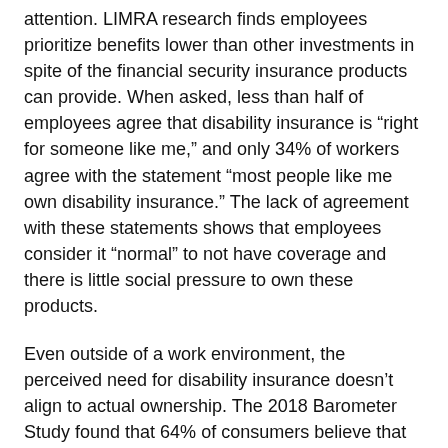attention. LIMRA research finds employees prioritize benefits lower than other investments in spite of the financial security insurance products can provide. When asked, less than half of employees agree that disability insurance is “right for someone like me,” and only 34% of workers agree with the statement “most people like me own disability insurance.” The lack of agreement with these statements shows that employees consider it “normal” to not have coverage and there is little social pressure to own these products.
Even outside of a work environment, the perceived need for disability insurance doesn’t align to actual ownership. The 2018 Barometer Study found that 64% of consumers believe that most people need disability insurance, but only 20% actually owned it themselves. The data also shows that consumers are just as anxious about disability insurance as they are about medical insurance yet disability insurance ownership remains